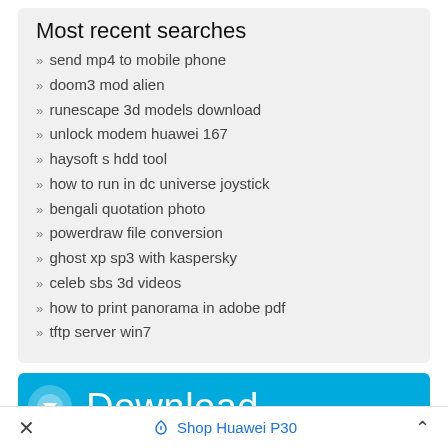Most recent searches
» send mp4 to mobile phone
» doom3 mod alien
» runescape 3d models download
» unlock modem huawei 167
» haysoft s hdd tool
» how to run in dc universe joystick
» bengali quotation photo
» powerdraw file conversion
» ghost xp sp3 with kaspersky
» celeb sbs 3d videos
» how to print panorama in adobe pdf
» tftp server win7
[Figure (screenshot): Blue download banner with circular icon and 'Download' text]
× 🏷 Shop Huawei P30 ^